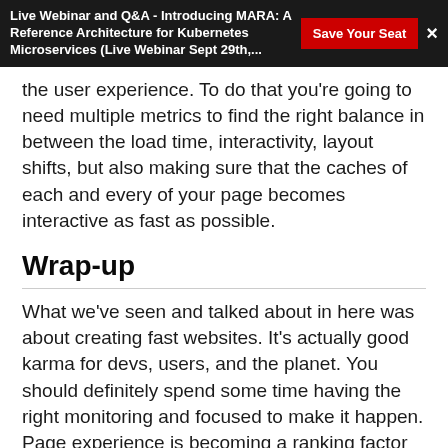Live Webinar and Q&A - Introducing MARA: A Reference Architecture for Kubernetes Microservices (Live Webinar Sept 29th,...
the user experience. To do that you're going to need multiple metrics to find the right balance in between the load time, interactivity, layout shifts, but also making sure that the caches of each and every of your page becomes interactive as fast as possible.
Wrap-up
What we've seen and talked about in here was about creating fast websites. It's actually good karma for devs, users, and the planet. You should definitely spend some time having the right monitoring and focused to make it happen. Page experience is becoming a ranking factor in Google search, so it's important to you, and it actually